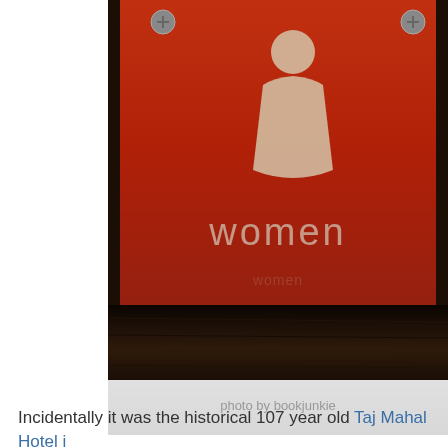[Figure (photo): A red restroom door sign with the word 'women' and a stylized female figure silhouette in beige/cream, mounted on a dark wood panel with metallic screws at corners. Caption reads 'photo by bookjunkie'.]
photo by bookjunkie
Incidentally it was the historical 107 year old Taj Mahal Hotel i...